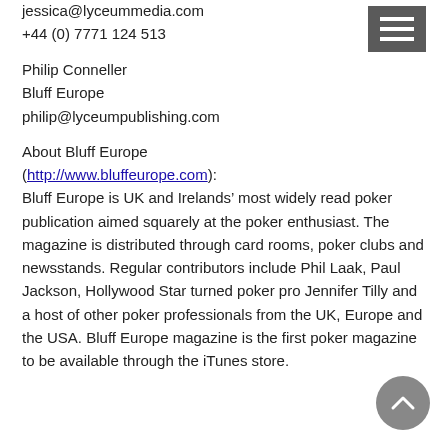jessica@lyceummedia.com
+44 (0) 7771 124 513
Philip Conneller
Bluff Europe
philip@lyceumpublishing.com
About Bluff Europe (http://www.bluffeurope.com): Bluff Europe is UK and Irelands’ most widely read poker publication aimed squarely at the poker enthusiast. The magazine is distributed through card rooms, poker clubs and newsstands. Regular contributors include Phil Laak, Paul Jackson, Hollywood Star turned poker pro Jennifer Tilly and a host of other poker professionals from the UK, Europe and the USA. Bluff Europe magazine is the first poker magazine to be available through the iTunes store.